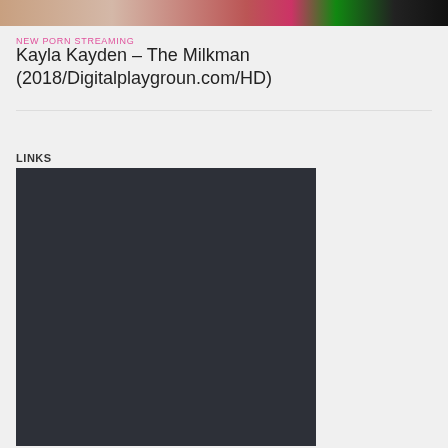[Figure (screenshot): Thumbnail image showing a video preview with XXX STREAMS text overlay on the right side]
NEW PORN STREAMING
Kayla Kayden – The Milkman (2018/Digitalplaygroun.com/HD)
LINKS
[Figure (screenshot): Dark grey/navy embedded media player or content box]